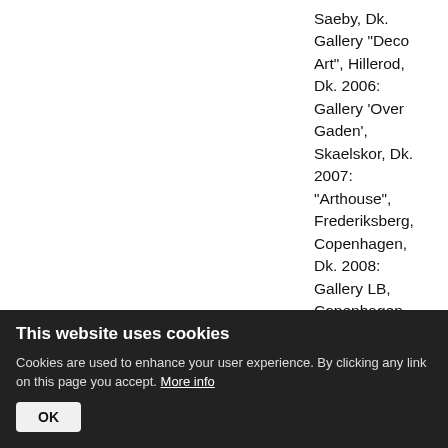Saeby, Dk. Gallery "Deco Art", Hillerod, Dk. 2006: Gallery 'Over Gaden', Skaelskor, Dk. 2007: "Arthouse", Frederiksberg, Copenhagen, Dk. 2008: Gallery LB, Copenhagen, Dk. Gallery Bagatel, Albertslund, Dk. 2009: Adventskirken Church, Vanlose,
This website uses cookies
Cookies are used to enhance your user experience. By clicking any link on this page you accept. More info
OK